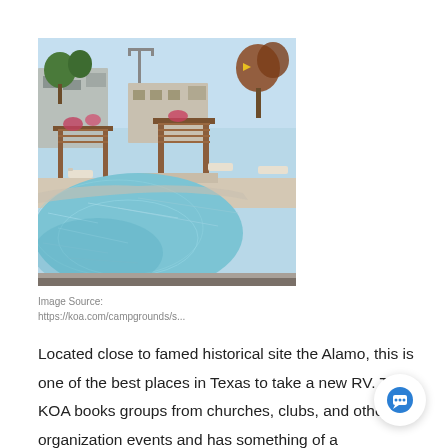[Figure (photo): Outdoor swimming pool with pergola and patio area, surrounded by buildings and trees under a blue sky. A KOA campground facility.]
Image Source:
https://koa.com/campgrounds/s...
Located close to famed historical site the Alamo, this is one of the best places in Texas to take a new RV. This KOA books groups from churches, clubs, and other organization events and has something of a Southwestern history and.